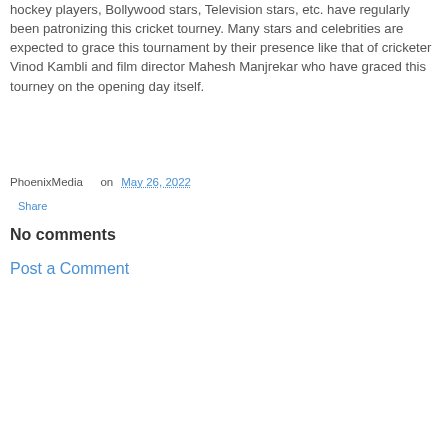hockey players, Bollywood stars, Television stars, etc. have regularly been patronizing this cricket tourney. Many stars and celebrities are expected to grace this tournament by their presence like that of cricketer Vinod Kambli and film director Mahesh Manjrekar who have graced this tourney on the opening day itself.
PhoenixMedia   on May 26, 2022
Share
No comments
Post a Comment